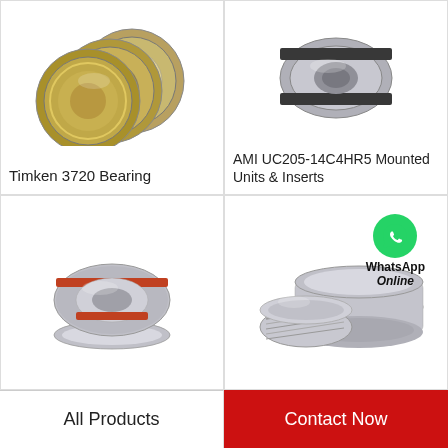[Figure (photo): Timken 3720 cylindrical roller bearings with gold/brass colored cages, three bearings shown]
Timken 3720 Bearing
[Figure (photo): AMI UC205-14C4HR5 mounted unit insert bearing, cylindrical shape with dark bands]
AMI UC205-14C4HR5 Mounted Units & Inserts
[Figure (photo): Angular contact ball bearing with red/orange seal rings, two-piece assembly]
[Figure (photo): Tapered roller bearing components (cone and cup) separated, with WhatsApp Online badge overlay]
All Products
Contact Now